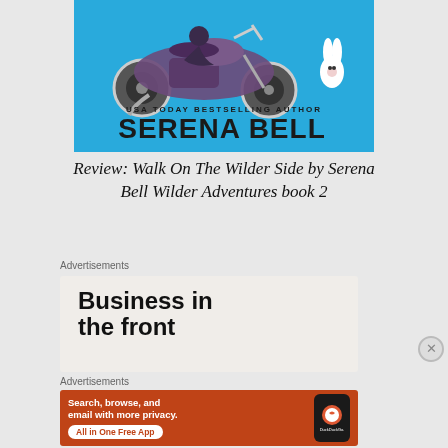[Figure (illustration): Book cover for 'Walk On The Wilder Side' by Serena Bell. Blue background with a motorcycle illustration on the left, a white bunny on the right, text 'USA TODAY BESTSELLING AUTHOR' and 'SERENA BELL' in large bold type.]
Review: Walk On The Wilder Side by Serena Bell Wilder Adventures book 2
Advertisements
[Figure (screenshot): Advertisement banner with light beige background reading 'Business in the front' in large bold black text (partially cropped).]
Advertisements
[Figure (screenshot): DuckDuckGo advertisement on orange/red background. Text: 'Search, browse, and email with more privacy. All in One Free App'. Shows a phone graphic with DuckDuckGo logo.]